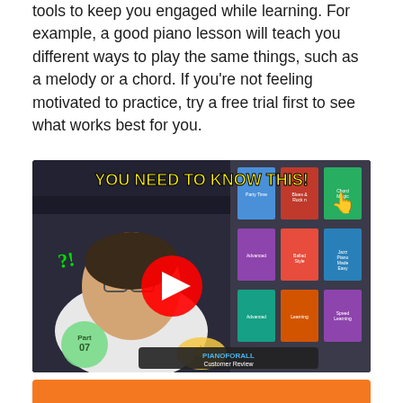tools to keep you engaged while learning. For example, a good piano lesson will teach you different ways to play the same things, such as a melody or a chord. If you're not feeling motivated to practice, try a free trial first to see what works best for you.
[Figure (screenshot): YouTube video thumbnail showing a man with glasses making a gesture, with piano book covers on the right side, a YouTube play button in the center, green '?!' text on the left, 'YOU NEED TO KNOW THIS!' in yellow text at the top, 'Part 07' badge bottom left, and 'PIANOFORALL Customer Review' text at bottom right with a pointing hand emoji.]
[Figure (other): Orange/amber colored bar or button at the bottom of the page.]